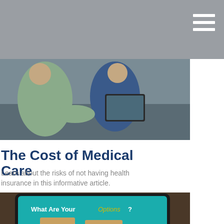[Figure (photo): Two people sitting on a couch, one holding a tablet, discussing something together]
The Cost of Medical Care
Learn about the risks of not having health insurance in this informative article.
[Figure (photo): A tablet showing an infographic titled 'What Are Your Options?' with two pill bottles labeled 'SELF insure' and 'LONG-TERM-CARE insurance']